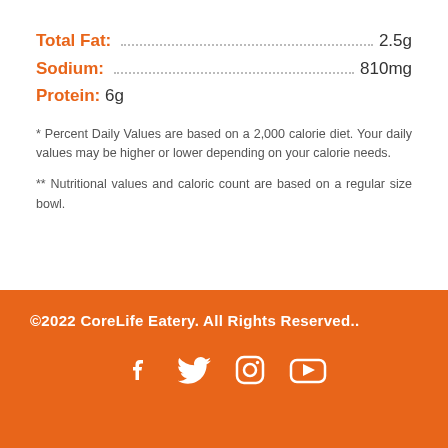Total Fat: 2.5g
Sodium: 810mg
Protein: 6g
* Percent Daily Values are based on a 2,000 calorie diet. Your daily values may be higher or lower depending on your calorie needs.
** Nutritional values and caloric count are based on a regular size bowl.
©2022 CoreLife Eatery. All Rights Reserved.